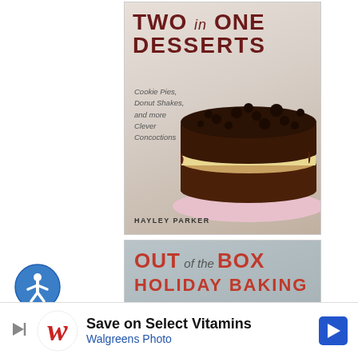[Figure (photo): Book cover for 'Two in One Desserts' by Hayley Parker, featuring a chocolate chip cookie cake on a pink plate. Subtitle: Cookie Pies, Donut Shakes, and more Clever Concoctions.]
[Figure (logo): Accessibility icon — blue circle with white stick figure person and circle above]
[Figure (photo): Book cover for 'Out of the Box Holiday Baking', subtitle: Gingerbread Cupcakes, Eggnog Fudge, and more Festive Semi-Homemade Sweets. Features green frosted holiday cupcakes.]
[Figure (infographic): Advertisement banner: 'Save on Select Vitamins' with Walgreens Photo logo, blue text, and orange arrow navigation icon. Includes a play/skip button on the left.]